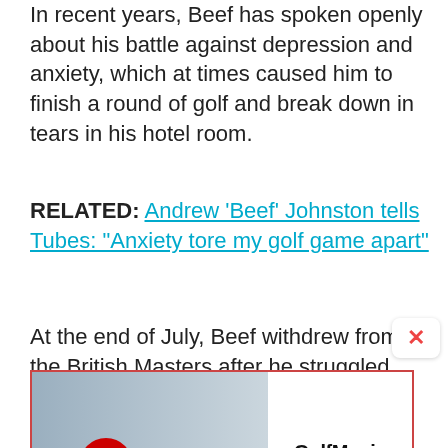In recent years, Beef has spoken openly about his battle against depression and anxiety, which at times caused him to finish a round of golf and break down in tears in his hotel room.
RELATED: Andrew 'Beef' Johnston tells Tubes: "Anxiety tore my golf game apart"
At the end of July, Beef withdrew from the British Masters after he struggled with the 'bubble' environment that has been strictly put into place on the European Tour due to the coronavirus outbreak.
[Figure (screenshot): GolfMagic YouTube advertisement banner with golfers and play button]